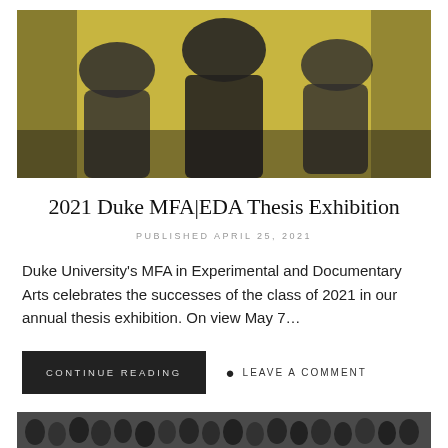[Figure (photo): Blurred vintage-style photo with yellow/sepia tones showing three figures from behind, wearing dark clothing against a yellow background]
2021 Duke MFA|EDA Thesis Exhibition
PUBLISHED APRIL 25, 2021
Duke University's MFA in Experimental and Documentary Arts celebrates the successes of the class of 2021 in our annual thesis exhibition. On view May 7…
CONTINUE READING
LEAVE A COMMENT
[Figure (photo): Black and white photo showing a dense crowd of people]